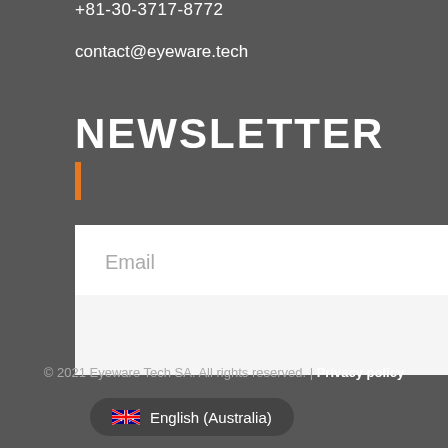+81-30-3717-8772
contact@eyeware.tech
NEWSLETTER
[Figure (other): Orange vertical bar accent under NEWSLETTER heading]
Email
SUBSCRIBE
© 2021 Eyeware Tech SA. All rights reserved. | Privacy policy
🇦🇺 English (Australia)